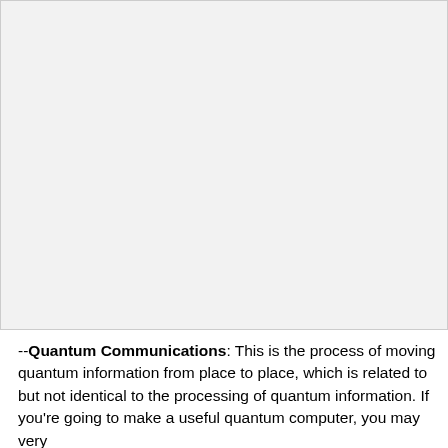[Figure (other): Large blank/empty light gray rectangular image area occupying the top portion of the page]
--Quantum Communications: This is the process of moving quantum information from place to place, which is related to but not identical to the processing of quantum information. If you're going to make a useful quantum computer, you may very